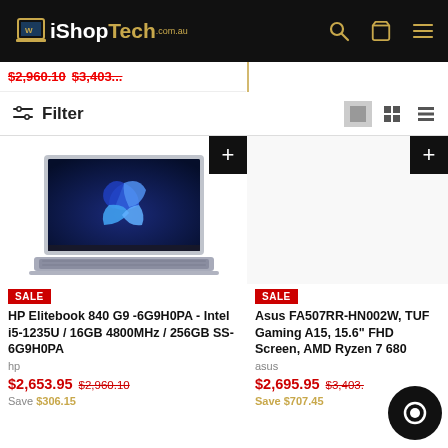iShopTech.com.au
$2,960.10 $3,403...
Filter
[Figure (photo): HP Elitebook 840 G9 laptop showing Windows 11 screen]
SALE
HP Elitebook 840 G9 -6G9H0PA - Intel i5-1235U / 16GB 4800MHz / 256GB SS-6G9H0PA
hp
$2,653.95  $2,960.10
SALE
Asus FA507RR-HN002W, TUF Gaming A15, 15.6" FHD Screen, AMD Ryzen 7 680
asus
$2,695.95  $3,403...
Save $707.45